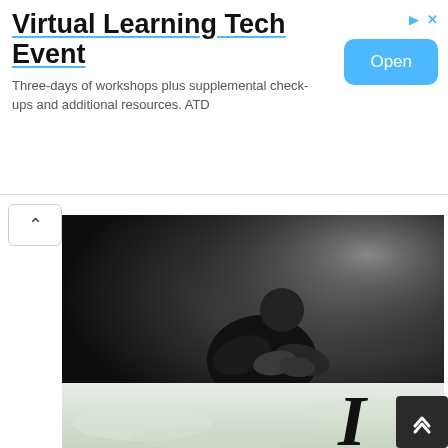[Figure (screenshot): Advertisement banner: Virtual Learning Tech Event. Three-days of workshops plus supplemental check-ups and additional resources. ATD. Blue Open button on the right.]
[Figure (photo): Black and white photo of a person sitting on the floor hugging their knees in a distressed posture.]
[Figure (photo): Light-colored image with a hazy sky background and a large italic letter I in the center-right area.]